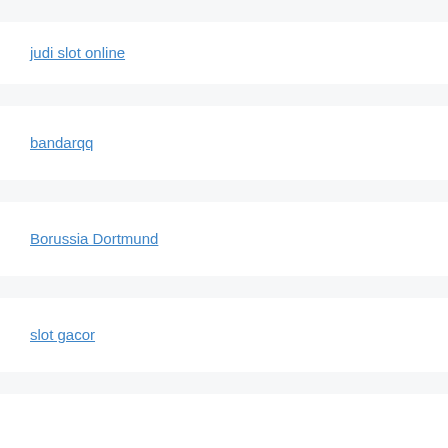judi slot online
bandarqq
Borussia Dortmund
slot gacor